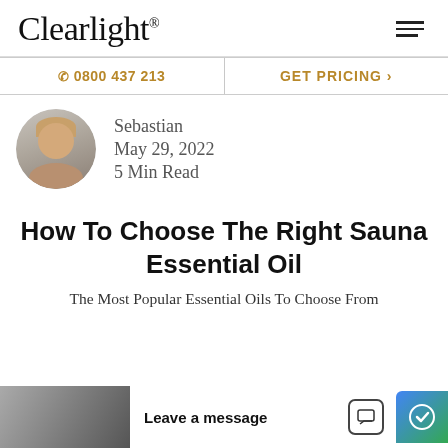Clearlight®
☎ 0800 437 213
GET PRICING
[Figure (photo): Circular portrait photo of a man named Sebastian, smiling, with blonde/light brown hair]
Sebastian
May 29, 2022
5 Min Read
How To Choose The Right Sauna Essential Oil
The Most Popular Essential Oils To Choose From
Leave a message
[Figure (photo): Partial photo at bottom left showing a person]